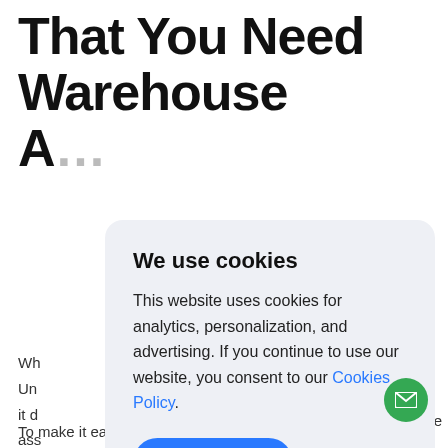That You Need Warehouse A...
Wh... Un... ice it d... ass... scr... spe... tec... ter...
We use cookies
This website uses cookies for analytics, personalization, and advertising. If you continue to use our website, you consent to our Cookies Policy.
Accept
To make it easier for you, we've prepared six...